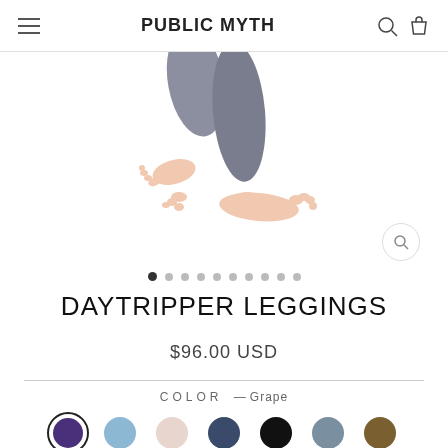PUBLIC MYTH
[Figure (photo): Close-up of person's feet/ankles wearing dark gray/charcoal leggings, barefoot, on white background]
DAYTRIPPER LEGGINGS
$96.00 USD
COLOR — Grape